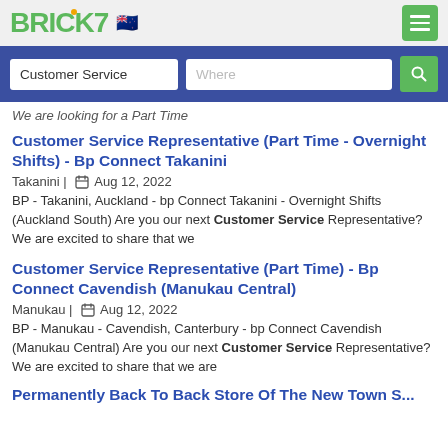BRICK7 [NZ flag]
Customer Service | Where [search bar]
We are looking for a Part Time
Customer Service Representative (Part Time - Overnight Shifts) - Bp Connect Takanini
Takanini | Aug 12, 2022
BP - Takanini, Auckland - bp Connect Takanini - Overnight Shifts (Auckland South) Are you our next Customer Service Representative? We are excited to share that we
Customer Service Representative (Part Time) - Bp Connect Cavendish (Manukau Central)
Manukau | Aug 12, 2022
BP - Manukau - Cavendish, Canterbury - bp Connect Cavendish (Manukau Central) Are you our next Customer Service Representative? We are excited to share that we are
Permanently Back To Back Store Of The New Town (partial)